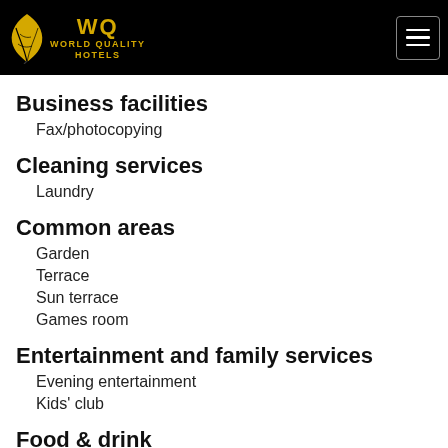World Quality Hotels
Business facilities
Fax/photocopying
Cleaning services
Laundry
Common areas
Garden
Terrace
Sun terrace
Games room
Entertainment and family services
Evening entertainment
Kids' club
Food & drink